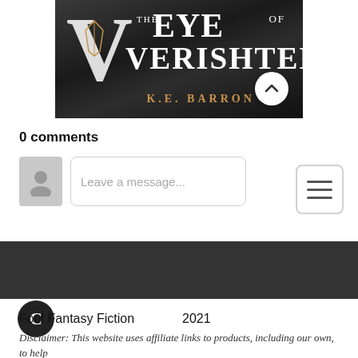[Figure (illustration): Book cover for 'The Eye of Verishten' by K.E. Barron with a dark mountainous background. A large decorative V with a crest is on the left. Text reads 'THE EYE OF VERISHTEN' in large serif letters, and 'K.E. BARRON' in gold below. A circular scroll-up button is overlaid on the top right of the cover.]
0 comments
Leave a message...
[Figure (other): Hamburger menu icon (three horizontal lines) in a rounded square button]
[Figure (other): Dark footer bar]
[Figure (logo): Black circle with white letter C logo]
Foul Fantasy Fiction     2021
Disclaimer: This website uses affiliate links to products, including our own, to help